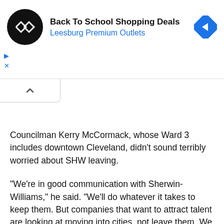[Figure (other): Advertisement banner for Back To School Shopping Deals at Leesburg Premium Outlets, with a black circular logo with double arrows, blue text link, blue diamond direction icon, and ad controls (play and close buttons).]
Councilman Kerry McCormack, whose Ward 3 includes downtown Cleveland, didn't sound terribly worried about SHW leaving.
"We're in good communication with Sherwin-Williams," he said. "We'll do whatever it takes to keep them. But companies that want to attract talent are looking at moving into cities, not leave them. We are going to work closely with